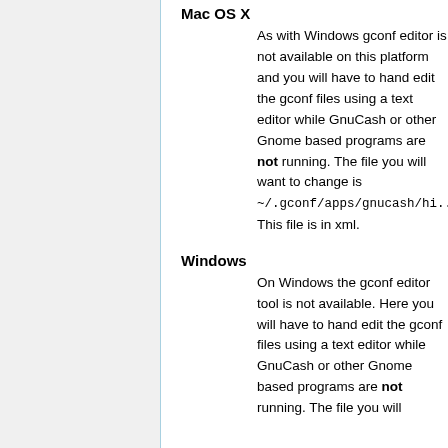Mac OS X
As with Windows gconf editor is not available on this platform and you will have to hand edit the gconf files using a text editor while GnuCash or other Gnome based programs are not running. The file you will want to change is ~/.gconf/apps/gnucash/hi... This file is in xml.
Windows
On Windows the gconf editor tool is not available. Here you will have to hand edit the gconf files using a text editor while GnuCash or other Gnome based programs are not running. The file you will